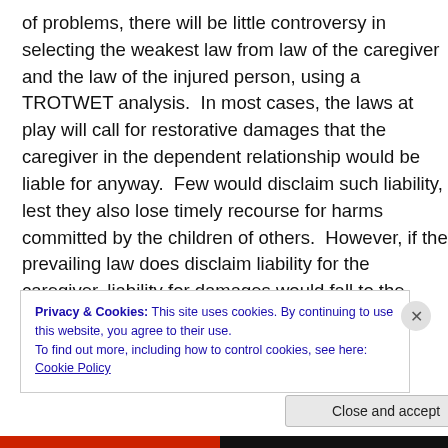of problems, there will be little controversy in selecting the weakest law from law of the caregiver and the law of the injured person, using a TROTWET analysis. In most cases, the laws at play will call for restorative damages that the caregiver in the dependent relationship would be liable for anyway. Few would disclaim such liability, lest they also lose timely recourse for harms committed by the children of others. However, if the prevailing law does disclaim liability for the caregiver, liability for damages would fall to the child, under the law of the child as determined by the jurist. Collection of the liability could be
Privacy & Cookies: This site uses cookies. By continuing to use this website, you agree to their use.
To find out more, including how to control cookies, see here: Cookie Policy
Close and accept